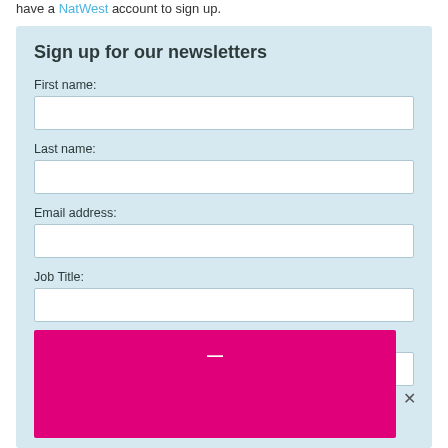have a NatWest account to sign up.
Sign up for our newsletters
First name:
Last name:
Email address:
Job Title:
Company: